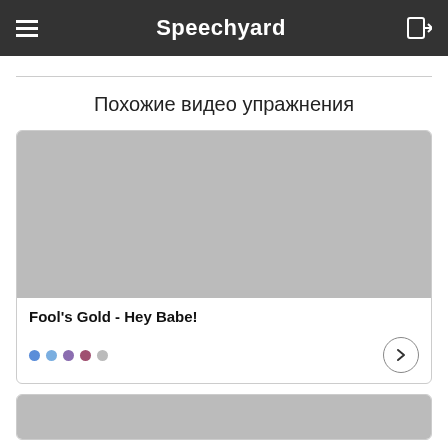Speechyard
Похожие видео упражнения
[Figure (other): Video thumbnail placeholder (grey rectangle) for 'Fool's Gold - Hey Babe!' exercise card]
Fool's Gold - Hey Babe!
[Figure (other): Second video card thumbnail placeholder (grey rectangle), partially visible]